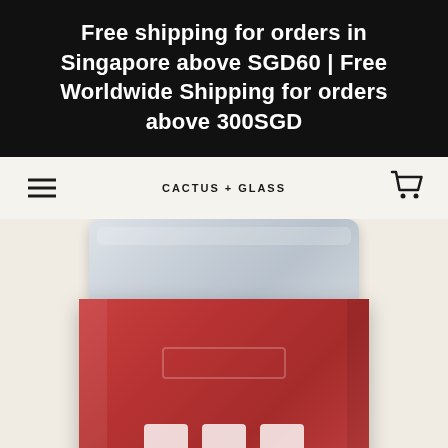Free shipping for orders in Singapore above SGD60 | Free Worldwide Shipping for orders above 300SGD
CACTUS + GLASS
[Figure (photo): Close-up photo of a red jar/container with a grey lid, showing partial white letters on the lower body of the jar. The background is a light beige/cream color.]